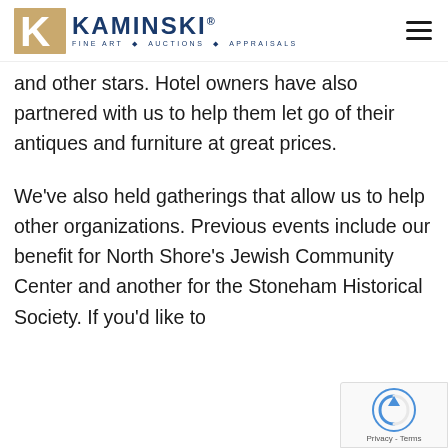Kaminski Fine Art • Auctions • Appraisals
and other stars. Hotel owners have also partnered with us to help them let go of their antiques and furniture at great prices.
We've also held gatherings that allow us to help other organizations. Previous events include our benefit for North Shore's Jewish Community Center and another for the Stoneham Historical Society. If you'd like to